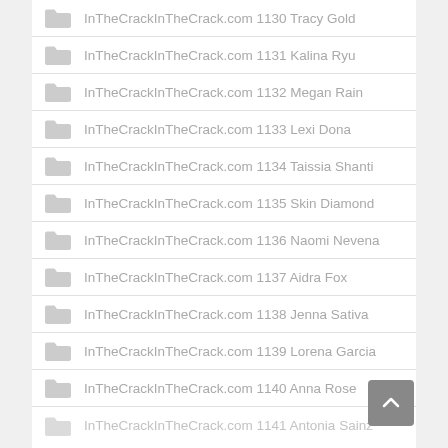InTheCrackInTheCrack.com 1130 Tracy Gold
InTheCrackInTheCrack.com 1131 Kalina Ryu
InTheCrackInTheCrack.com 1132 Megan Rain
InTheCrackInTheCrack.com 1133 Lexi Dona
InTheCrackInTheCrack.com 1134 Taissia Shanti
InTheCrackInTheCrack.com 1135 Skin Diamond
InTheCrackInTheCrack.com 1136 Naomi Nevena
InTheCrackInTheCrack.com 1137 Aidra Fox
InTheCrackInTheCrack.com 1138 Jenna Sativa
InTheCrackInTheCrack.com 1139 Lorena Garcia
InTheCrackInTheCrack.com 1140 Anna Rose
InTheCrackInTheCrack.com 1141 Antonia Sainz